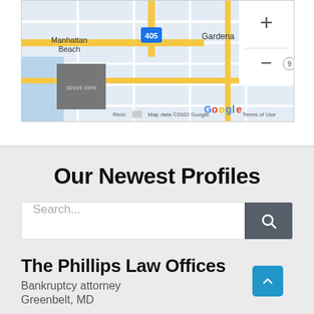[Figure (map): Google Maps view showing Manhattan Beach, Gardena, and 405 freeway area. Includes zoom in/out buttons, a small street view thumbnail, and map attribution: Map data ©2022 Google, Terms of Use]
Our Newest Profiles
Search...
The Phillips Law Offices
Bankruptcy attorney
Greenbelt, MD